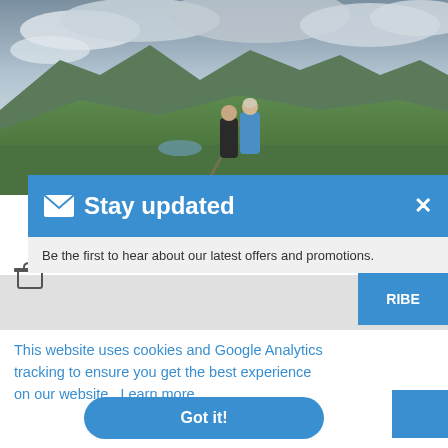[Figure (photo): Two people hiking on a highland trail with mountains and dramatic cloudy sky in the background. Green moorland, a small lake visible in the distance.]
✉ Stay updated
Be the first to hear about our latest offers and promotions.
RIBE
This website uses cookies and Google Analytics tracking to ensure you get the best experience on our website. Learn more
Got it!
ENQUIRE NOW